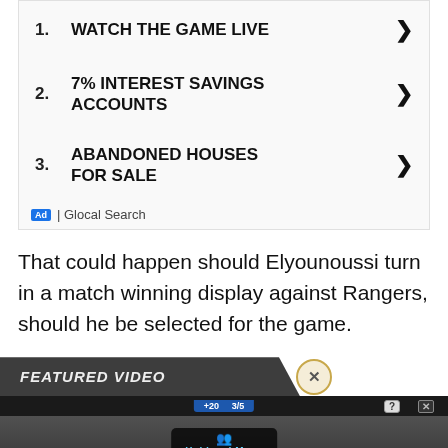1. WATCH THE GAME LIVE
2. 7% INTEREST SAVINGS ACCOUNTS
3. ABANDONED HOUSES FOR SALE
Ad | Glocal Search
That could happen should Elyounoussi turn in a match winning display against Rangers, should he be selected for the game.
FEATURED VIDEO